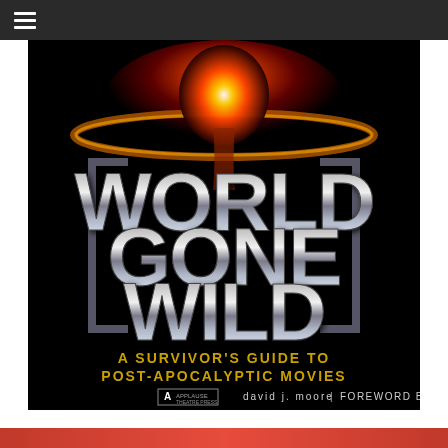≡
[Figure (illustration): Book cover of 'World Gone Wild: A Survivor's Guide to Post-Apocalyptic Movies' by David J. Moore, with Foreword by Vern. Large metallic chrome lettering on black background with nuclear explosion image at top. Subtitle in gold/yellow text. Publisher logo bottom left.]
[Figure (illustration): Red/orange strip at the bottom of the page, appears to be the top of another image below.]